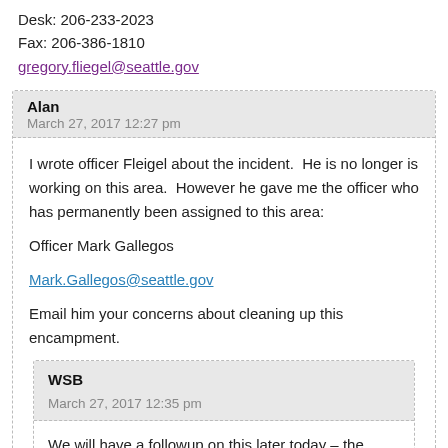Desk: 206-233-2023
Fax: 206-386-1810
gregory.fliegel@seattle.gov
Alan
March 27, 2017 12:27 pm
I wrote officer Fleigel about the incident. He is no longer is working on this area. However he gave me the officer who has permanently been assigned to this area:

Officer Mark Gallegos

Mark.Gallegos@seattle.gov

Email him your concerns about cleaning up this encampment.
WSB
March 27, 2017 12:35 pm
We will have a followup on this later today – the SPD-led Navigation Team is scheduled to be out there.